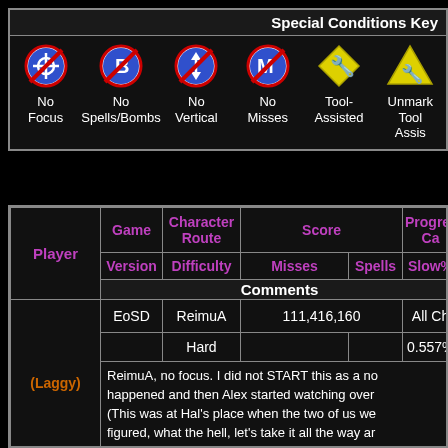Special Conditions Key
[Figure (infographic): Row of icons: No Focus, No Spells/Bombs, No Vertical, No Misses, Tool-Assisted, Unmarked Tool Assisted]
| Player | Game Version | Character Route / Difficulty | Score Misses | Spells | Progress Cap / Slow% | Comments |
| --- | --- | --- | --- | --- | --- | --- |
| (Laggy) | EoSD | ReimuA | 111,416,160 |  | All Ch |  |
|  |  | Hard |  |  | 0.557% |  |
|  | ReimuA, no focus. I did not START this as a no... happened and then Alex started watching over... (This was at Hal's place when the two of us we... figured, what the hell, let's take it all the way ar... having only beaten EoSD Hard once and with |  |  |  |  |